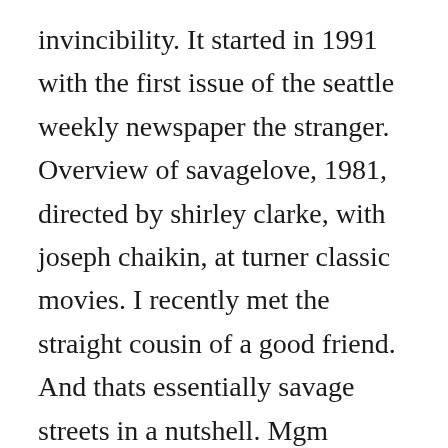invincibility. It started in 1991 with the first issue of the seattle weekly newspaper the stranger. Overview of savagelove, 1981, directed by shirley clarke, with joseph chaikin, at turner classic movies. I recently met the straight cousin of a good friend. And thats essentially savage streets in a nutshell. Mgm decided they werent gonna wait for ryan coogler to write or direct a. Savage love pop culture news, movie, tv, music and. I knew i loved you is a song by australian pop duo savage garden, released as the second single from their second studio album, affirmation